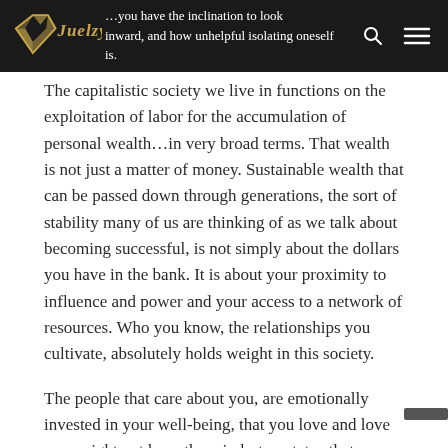Juelzy [logo header with search and menu icons]
inward, and how unhelpful isolating oneself is.
The capitalistic society we live in functions on the exploitation of labor for the accumulation of personal wealth…in very broad terms. That wealth is not just a matter of money. Sustainable wealth that can be passed down through generations, the sort of stability many of us are thinking of as we talk about becoming successful, is not simply about the dollars you have in the bank. It is about your proximity to influence and power and your access to a network of resources. Who you know, the relationships you cultivate, absolutely holds weight in this society.
The people that care about you, are emotionally invested in your well-being, that you love and love you, might not have the mindset or status that you are